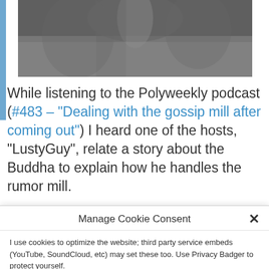[Figure (photo): Black and white photo of people, partially cropped at top]
While listening to the Polyweekly podcast (#483 – "Dealing with the gossip mill after coming out") I heard one of the hosts, "LustyGuy", relate a story about the Buddha to explain how he handles the rumor mill.
Manage Cookie Consent
I use cookies to optimize the website; third party service embeds (YouTube, SoundCloud, etc) may set these too. Use Privacy Badger to protect yourself.
Accept